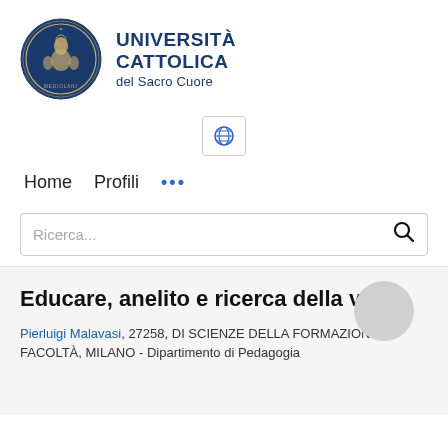[Figure (logo): Università Cattolica del Sacro Cuore logo with circular seal and text]
[Figure (other): Globe/language selector icon button]
Home   Profili   ...
Ricerca...
Educare, anelito e ricerca della verità
Pierluigi Malavasi, 27258, DI SCIENZE DELLA FORMAZIONE FACOLTÀ, MILANO - Dipartimento di Pedagogia